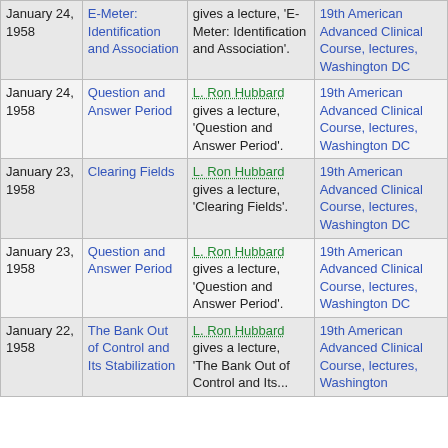| Date | Title | Description | Course |
| --- | --- | --- | --- |
| January 24, 1958 | E-Meter: Identification and Association | gives a lecture, 'E-Meter: Identification and Association'. | 19th American Advanced Clinical Course, lectures, Washington DC |
| January 24, 1958 | Question and Answer Period | L. Ron Hubbard gives a lecture, 'Question and Answer Period'. | 19th American Advanced Clinical Course, lectures, Washington DC |
| January 23, 1958 | Clearing Fields | L. Ron Hubbard gives a lecture, 'Clearing Fields'. | 19th American Advanced Clinical Course, lectures, Washington DC |
| January 23, 1958 | Question and Answer Period | L. Ron Hubbard gives a lecture, 'Question and Answer Period'. | 19th American Advanced Clinical Course, lectures, Washington DC |
| January 22, 1958 | The Bank Out of Control and Its Stabilization | L. Ron Hubbard gives a lecture, 'The Bank Out of Control and Its...' | 19th American Advanced Clinical Course, lectures, Washington DC |